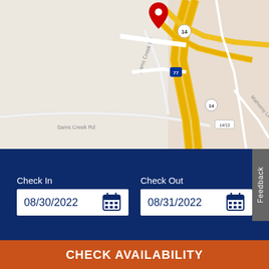[Figure (map): Street map showing Sams Creek Rd area with highway 77 and route 14 interchange, yellow highway lines on gray map background, red location pin marker at top center]
Feedback
Check In
08/30/2022
Check Out
08/31/2022
SEARCH
CHECK AVAILABILITY